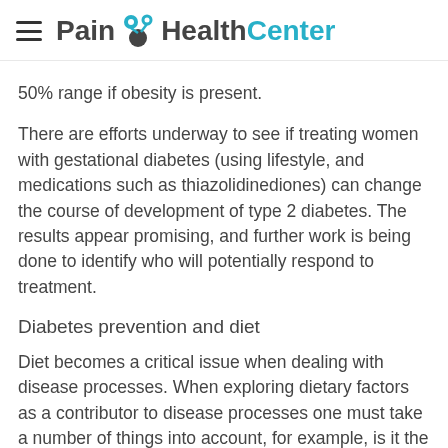Pain HealthCenter
50% range if obesity is present.
There are efforts underway to see if treating women with gestational diabetes (using lifestyle, and medications such as thiazolidinediones) can change the course of development of type 2 diabetes. The results appear promising, and further work is being done to identify who will potentially respond to treatment.
Diabetes prevention and diet
Diet becomes a critical issue when dealing with disease processes. When exploring dietary factors as a contributor to disease processes one must take a number of things into account, for example, is it the food itself or the weight gain associated with its consumption that is the risk? Is it the food, or the